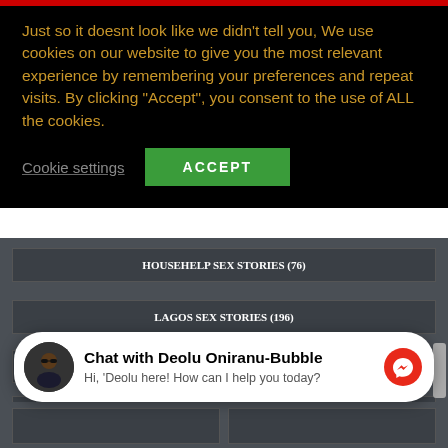Just so it doesnt look like we didn't tell you, We use cookies on our website to give you the most relevant experience by remembering your preferences and repeat visits. By clicking “Accept”, you consent to the use of ALL the cookies.
Cookie settings
ACCEPT
HOUSEHELP SEX STORIES (76)
LAGOS SEX STORIES (196)
NAIJA SEX STORIES (644)
NEW SEX STORIES (94)
NIGERIAN EROTIC STORIES (499)
NIGERIAN SEX STORIES (1096)
Chat with Deolu Oniranu-Bubble
Hi, 'Deolu here! How can I help you today?